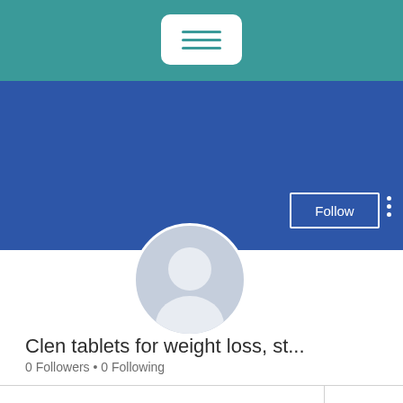[Figure (screenshot): Teal top navigation bar with hamburger menu button (white rounded rectangle with three teal horizontal lines)]
[Figure (screenshot): Blue profile header banner with Follow button (white outlined) and three-dot menu icon on the right, and a circular avatar placeholder (grey silhouette) overlapping the bottom of the banner]
Clen tablets for weight loss, st...
0 Followers • 0 Following
Profile
Join date: Jun 20, 2022